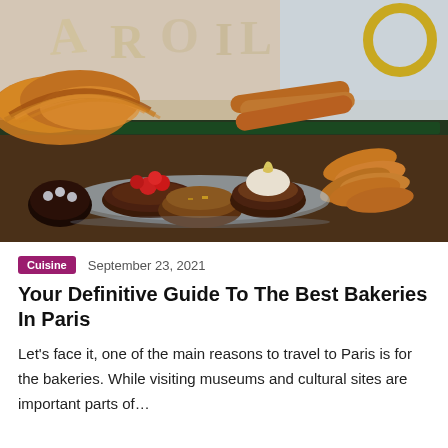[Figure (photo): Close-up photo of assorted French bakery pastries including croissants, chocolate tarts with raspberries, cream-topped desserts, and thin crispy cookies displayed on a counter, with a blurred storefront background.]
Cuisine   September 23, 2021
Your Definitive Guide To The Best Bakeries In Paris
Let's face it, one of the main reasons to travel to Paris is for the bakeries. While visiting museums and cultural sites are important parts of...